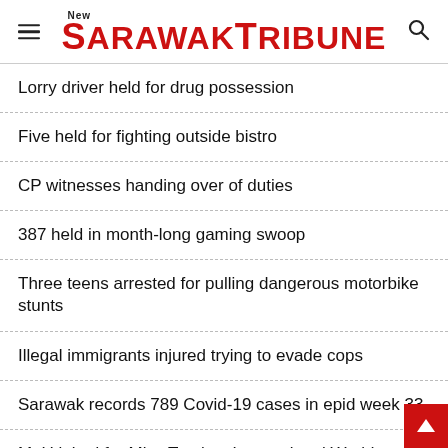New Sarawak Tribune
Lorry driver held for drug possession
Five held for fighting outside bistro
CP witnesses handing over of duties
387 held in month-long gaming swoop
Three teens arrested for pulling dangerous motorbike stunts
Illegal immigrants injured trying to evade cops
Sarawak records 789 Covid-19 cases in epid week 33
MoU inked for Miss Tourism International World Final